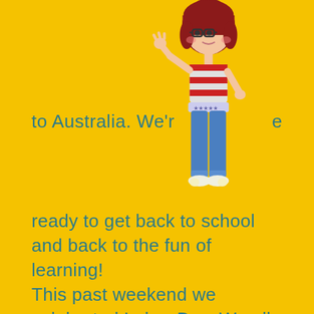[Figure (illustration): Cartoon girl character with red hair, glasses, wearing a red and white striped shirt, blue jeans, and white sneakers. She is posed with one hand on hip and one arm raised.]
to Australia. We'r                                                        e
ready to get back to school and back to the fun of learning! This past weekend we celebrated Labor Day. We all look forward to Labor Day as the last barbecue day and the unofficial end of summer celebration. Do you know what Labor Day is actually for?